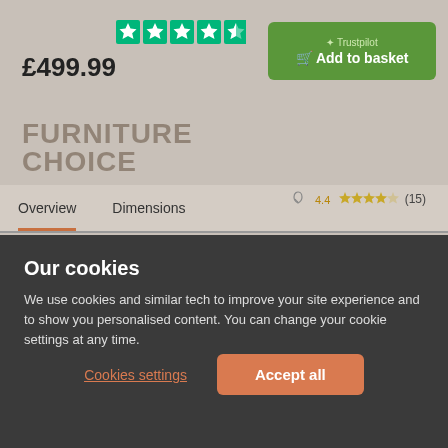[Figure (screenshot): Furniture Choice website product page screenshot, greyed out, showing price £499.99, Trustpilot stars, Add to basket button, logo, Overview/Dimensions nav tabs with rating 4.4 (15), search bar, Compact Dining Sets breadcrumb, and social icons]
Our cookies
We use cookies and similar tech to improve your site experience and to show you personalised content. You can change your cookie settings at any time.
Cookies settings
Accept all